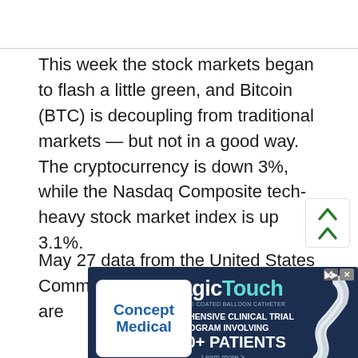This week the stock markets began to flash a little green, and Bitcoin (BTC) is decoupling from traditional markets — but not in a good way. The cryptocurrency is down 3%, while the Nasdaq Composite tech-heavy stock market index is up 3.1%.
May 27 data from the United States Commerce Department savings rate ... lowest level ... are
[Figure (other): Advertisement overlay: MagicTouch Comprehensive Clinical Trial Program Involving 6700+ Patients, with Concept Medical logo and CE1434 mark]